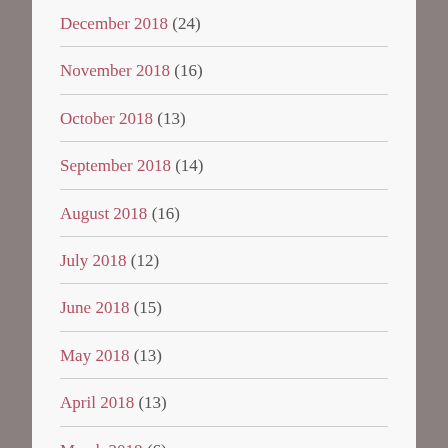December 2018 (24)
November 2018 (16)
October 2018 (13)
September 2018 (14)
August 2018 (16)
July 2018 (12)
June 2018 (15)
May 2018 (13)
April 2018 (13)
March 2018 (6)